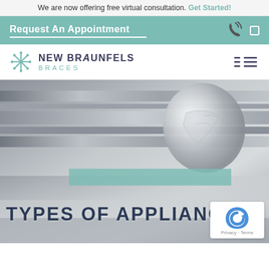We are now offering free virtual consultation. Get Started!
Request An Appointment
[Figure (logo): New Braunfels Braces logo with snowflake-like icon and text]
[Figure (photo): Close-up black and white photo of dental braces/appliance with a clear aligner tooth model, with teal accent band overlay]
TYPES OF APPLIANCES
[Figure (other): Google reCAPTCHA badge with Privacy and Terms links]